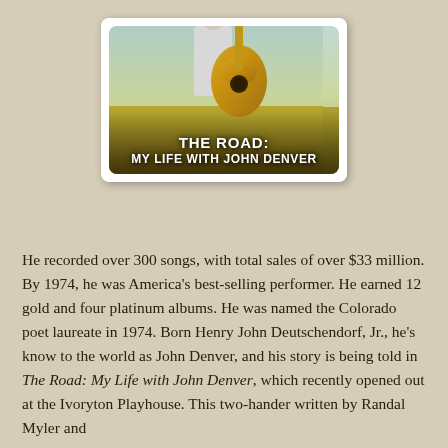[Figure (photo): Show poster/album art for 'The Road: My Life with John Denver' — shows a person holding a golden acoustic guitar in a field, with large white bold text overlay reading 'THE ROAD: MY LIFE WITH JOHN DENVER'. Image is set in a white-bordered card with rounded corners.]
He recorded over 300 songs, with total sales of over $33 million. By 1974, he was America's best-selling performer. He earned 12 gold and four platinum albums. He was named the Colorado poet laureate in 1974. Born Henry John Deutschendorf, Jr., he's know to the world as John Denver, and his story is being told in The Road: My Life with John Denver, which recently opened out at the Ivoryton Playhouse. This two-hander written by Randal Myler and